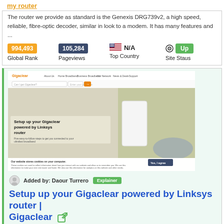my router
The router we provide as standard is the Genexis DRG739v2, a high speed, reliable, fibre-optic decoder, similar in look to a modem. It has many features and ...
| Global Rank | Pageviews | Top Country | Site Staus |
| --- | --- | --- | --- |
| 994,493 | 105,284 | N/A | Up |
[Figure (screenshot): Screenshot of Gigaclear website showing 'Setup up your Gigaclear powered by Linksys router' page with navigation bar, hero image, search bar, and cookie consent bar]
Added by: Daour Turrero  Explainer
Setup up your Gigaclear powered by Linksys router | Gigaclear